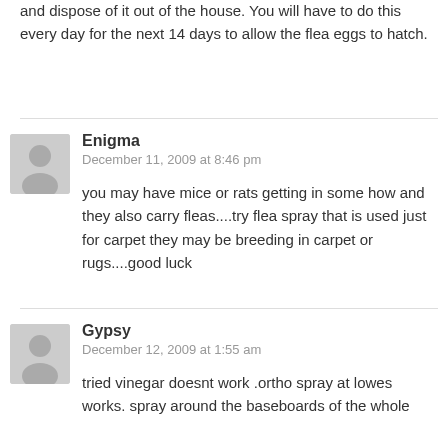and dispose of it out of the house. You will have to do this every day for the next 14 days to allow the flea eggs to hatch.
Enigma
December 11, 2009 at 8:46 pm

you may have mice or rats getting in some how and they also carry fleas....try flea spray that is used just for carpet they may be breeding in carpet or rugs....good luck
Gypsy
December 12, 2009 at 1:55 am

tried vinegar doesnt work .ortho spray at lowes works. spray around the baseboards of the whole